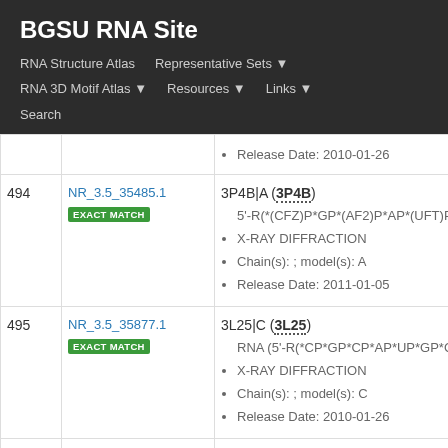BGSU RNA Site
RNA Structure Atlas | Representative Sets ▼ | RNA 3D Motif Atlas ▼ | Resources ▼ | Links ▼ | Search
| # | ID | Details |
| --- | --- | --- |
|  |  | Release Date: 2010-01-26 |
| 494 | NR_3.5_35485.1 EXACT MATCH | 3P4B|A (3P4B)
5'-R(*(CFZ)P*GP*(AF2)P*AP*(UFT)P*UP*(
 X-RAY DIFFRACTION
Chain(s): ; model(s): A
Release Date: 2011-01-05 |
| 495 | NR_3.5_35877.1 EXACT MATCH | 3L25|C (3L25)
RNA (5'-R(*CP*GP*CP*AP*UP*GP*CP*G)-
X-RAY DIFFRACTION
Chain(s): ; model(s): C
Release Date: 2010-01-26 |